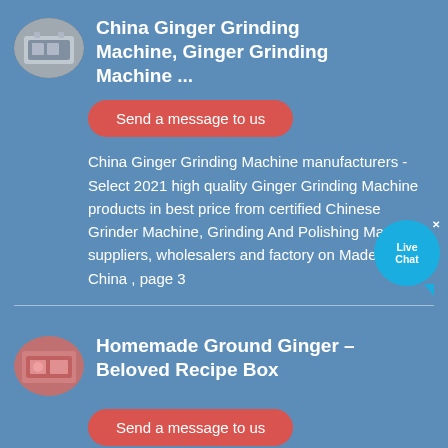China Ginger Grinding Machine, Ginger Grinding Machine ...
Send a message to us
China Ginger Grinding Machine manufacturers - Select 2021 high quality Ginger Grinding Machine products in best price from certified Chinese Grinder Machine, Grinding And Polishing Machine suppliers, wholesalers and factory on Made-in-China , page 3
Homemade Ground Ginger – Beloved Recipe Box
Send a message to us